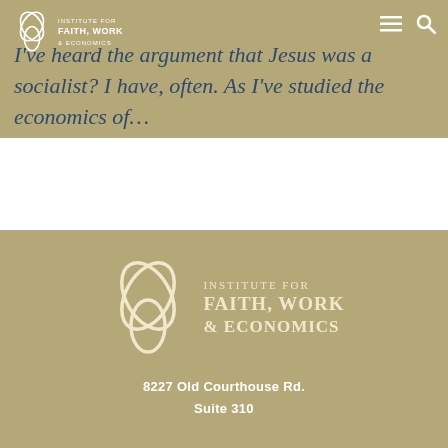Institute for Faith, Work & Economics — navigation header with logo and menu/search icons
I've heard the argument that Jesus was a socialist? I have, often. As I've studied the economics of…
[Figure (logo): Institute for Faith, Work & Economics logo — stylized leaf/trinity symbol with organization name in cream/white text on gold-tan background]
8227 Old Courthouse Rd.
Suite 310